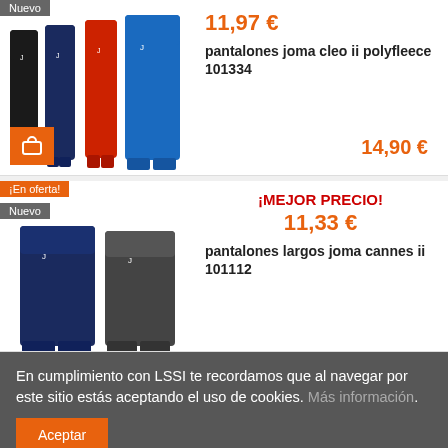[Figure (photo): Four pairs of Joma Cleo II Polyfleece tracksuit pants in black, navy, red, and blue colors]
Nuevo
11,97 €
pantalones joma cleo ii polyfleece 101334
14,90 €
[Figure (photo): Two pairs of Joma Cannes II long pants in navy and black colors]
¡En oferta!
Nuevo
¡MEJOR PRECIO!
11,33 €
pantalones largos joma cannes ii 101112
En cumplimiento con LSSI te recordamos que al navegar por este sitio estás aceptando el uso de cookies. Más información.
Aceptar
¡MEJOR PRECIO!